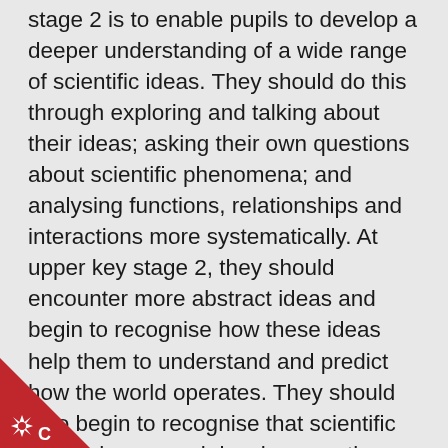stage 2 is to enable pupils to develop a deeper understanding of a wide range of scientific ideas. They should do this through exploring and talking about their ideas; asking their own questions about scientific phenomena; and analysing functions, relationships and interactions more systematically. At upper key stage 2, they should encounter more abstract ideas and begin to recognise how these ideas help them to understand and predict how the world operates. They should also begin to recognise that scientific ideas change and develop over time. They should select the most appropriate ways to answer science questions using different types of scientific enquiry, including observing changes over different periods of time, noticing patterns, grouping and classifying things, carrying out comparative and fair tests and finding things out using a wide range of secondary sources of information. Pupils should draw conclusions based on
[Figure (logo): Red triangular badge in bottom-left corner with a white crown/star symbol and the letter C]